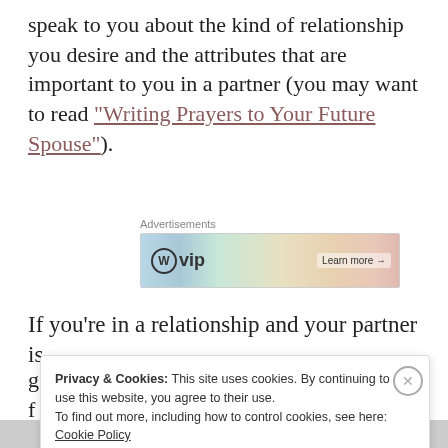speak to you about the kind of relationship you desire and the attributes that are important to you in a partner (you may want to read “Writing Prayers to Your Future Spouse”).
[Figure (other): Advertisement banner for WordPress VIP with colorful background showing stacked books and 'Learn more →' button]
If you’re in a relationship and your partner is
Privacy & Cookies: This site uses cookies. By continuing to use this website, you agree to their use. To find out more, including how to control cookies, see here: Cookie Policy
Close and accept